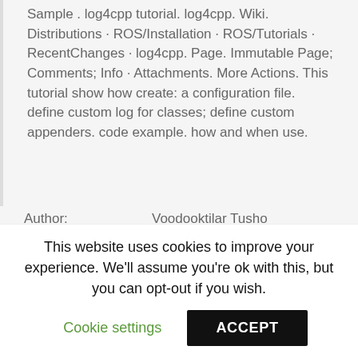Sample . log4cpp tutorial. log4cpp. Wiki. Distributions · ROS/Installation · ROS/Tutorials · RecentChanges · log4cpp. Page. Immutable Page; Comments; Info · Attachments. More Actions. This tutorial show how create: a configuration file. define custom log for classes; define custom appenders. code example. how and when use.
| Author: | Voodooktilar Tusho |
| Country: | Bahamas |
| Language: | English (Spanish) |
This website uses cookies to improve your experience. We'll assume you're ok with this, but you can opt-out if you wish.